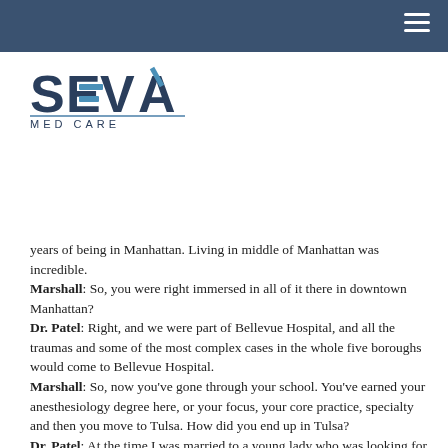SEVA MED CARE
[Figure (logo): SEVA MED CARE logo with blue stylized letters and horizontal accent lines]
years of being in Manhattan. Living in middle of Manhattan was incredible.
Marshall: So, you were right immersed in all of it there in downtown Manhattan?
Dr. Patel: Right, and we were part of Bellevue Hospital, and all the traumas and some of the most complex cases in the whole five boroughs would come to Bellevue Hospital.
Marshall: So, now you've gone through your school. You've earned your anesthesiology degree here, or your focus, your core practice, specialty and then you move to Tulsa. How did you end up in Tulsa?
Dr. Patel: At the time I was married to a young lady who was looking for a fellowship in Tulsa and we moved here at the time, thinking we'd move somewhere else eventually to start our practices.
But, we found that Tulsa was the perfect place to raise our children, raise a family in general, make great friends. It's a